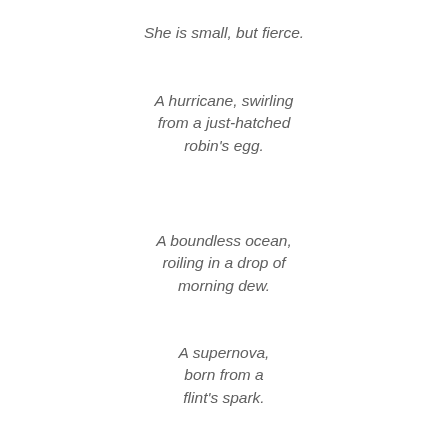She is small, but fierce.
A hurricane, swirling
from a just-hatched
robin's egg.
A boundless ocean,
roiling in a drop of
morning dew.
A supernova,
born from a
flint's spark.